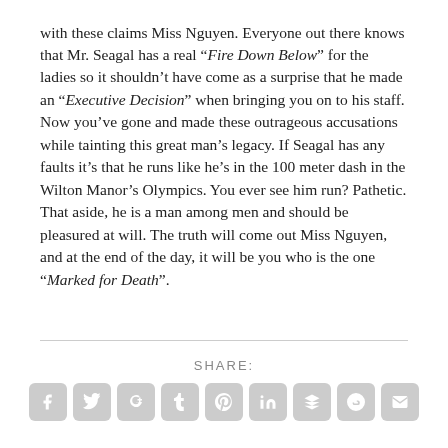with these claims Miss Nguyen. Everyone out there knows that Mr. Seagal has a real “Fire Down Below” for the ladies so it shouldn’t have come as a surprise that he made an “Executive Decision” when bringing you on to his staff. Now you’ve gone and made these outrageous accusations while tainting this great man’s legacy. If Seagal has any faults it’s that he runs like he’s in the 100 meter dash in the Wilton Manor’s Olympics. You ever see him run? Pathetic. That aside, he is a man among men and should be pleasured at will. The truth will come out Miss Nguyen, and at the end of the day, it will be you who is the one “Marked for Death”.
SHARE: